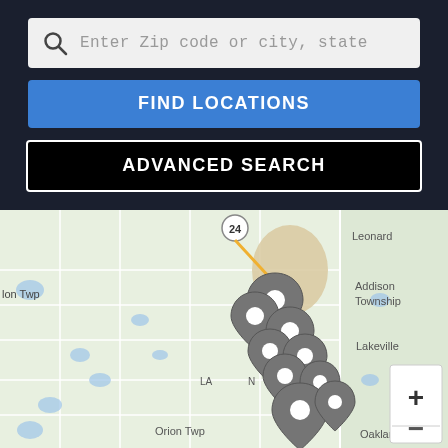[Figure (screenshot): Search interface with zip code/city input, Find Locations button, and Advanced Search button on dark background]
[Figure (map): Google Maps-style map showing Michigan area including Leonard, Addison Township, Lakeville, Orion Twp, Oakland, with multiple gray location pin markers clustered in the center, a route marker (24) visible, and zoom +/- controls in bottom right]